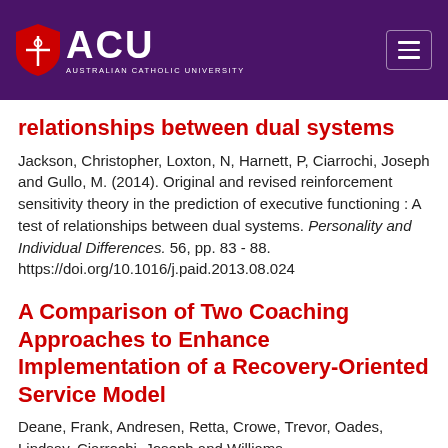ACU — Australian Catholic University
relationships between dual systems
Jackson, Christopher, Loxton, N, Harnett, P, Ciarrochi, Joseph and Gullo, M. (2014). Original and revised reinforcement sensitivity theory in the prediction of executive functioning : A test of relationships between dual systems. Personality and Individual Differences. 56, pp. 83 - 88. https://doi.org/10.1016/j.paid.2013.08.024
A Comparison of Two Coaching Approaches to Enhance Implementation of a Recovery-Oriented Service Model
Deane, Frank, Andresen, Retta, Crowe, Trevor, Oades, Lindsay, Ciarrochi, Joseph and Williams, Virginia (2014). A Comparison of Two Coaching...